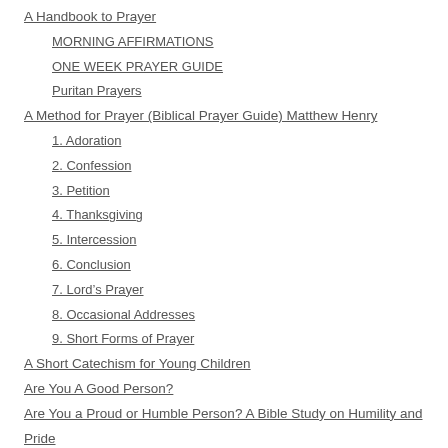A Handbook to Prayer
MORNING AFFIRMATIONS
ONE WEEK PRAYER GUIDE
Puritan Prayers
A Method for Prayer (Biblical Prayer Guide) Matthew Henry
1. Adoration
2. Confession
3. Petition
4. Thanksgiving
5. Intercession
6. Conclusion
7. Lord’s Prayer
8. Occasional Addresses
9. Short Forms of Prayer
A Short Catechism for Young Children
Are You A Good Person?
Are You a Proud or Humble Person? A Bible Study on Humility and Pride
Are You Good Enough to go to Heaven?